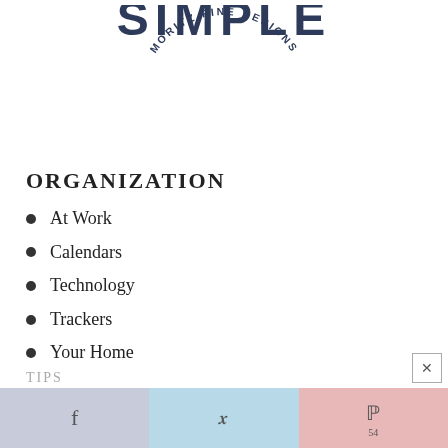[Figure (logo): SIMPLE - MORITZ FINE DESIGNS logo with arched text]
ORGANIZATION
At Work
Calendars
Technology
Trackers
Your Home
Facebook share | Twitter share | Pinterest 54